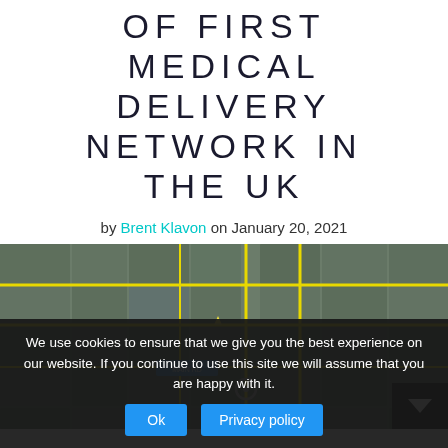OF FIRST MEDICAL DELIVERY NETWORK IN THE UK
by Brent Klavon on January 20, 2021
[Figure (map): Aerial/satellite map view showing street grid with yellow route lines highlighted, blue and green labeled markers indicating delivery locations]
We use cookies to ensure that we give you the best experience on our website. If you continue to use this site we will assume that you are happy with it.